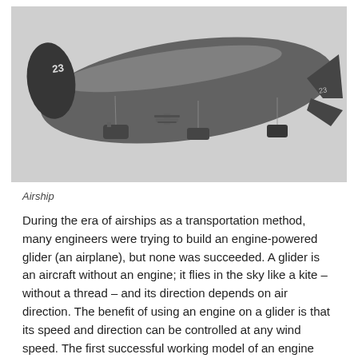[Figure (photo): Black and white photograph of a large airship (blimp/zeppelin) numbered '23' flying through a grey sky. Small aircraft or gondolas are visible attached beneath the airship.]
Airship
During the era of airships as a transportation method, many engineers were trying to build an engine-powered glider (an airplane), but none was succeeded. A glider is an aircraft without an engine; it flies in the sky like a kite – without a thread – and its direction depends on air direction. The benefit of using an engine on a glider is that its speed and direction can be controlled at any wind speed. The first successful working model of an engine